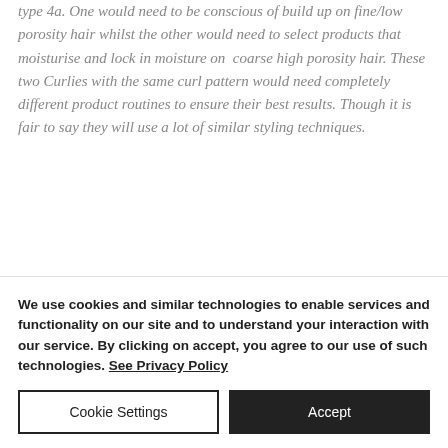type 4a. One would need to be conscious of build up on fine/low porosity hair whilst the other would need to select products that moisturise and lock in moisture on coarse high porosity hair. These two Curlies with the same curl pattern would need completely different product routines to ensure their best results. Though it is fair to say they will use a lot of similar styling techniques.
Similar to Density - For the purposes of
We use cookies and similar technologies to enable services and functionality on our site and to understand your interaction with our service. By clicking on accept, you agree to our use of such technologies. See Privacy Policy